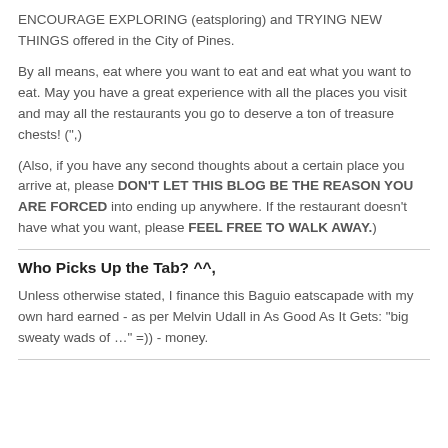ENCOURAGE EXPLORING (eatsploring) and TRYING NEW THINGS offered in the City of Pines.
By all means, eat where you want to eat and eat what you want to eat. May you have a great experience with all the places you visit and may all the restaurants you go to deserve a ton of treasure chests! (“,)
(Also, if you have any second thoughts about a certain place you arrive at, please DON’T LET THIS BLOG BE THE REASON YOU ARE FORCED into ending up anywhere. If the restaurant doesn’t have what you want, please FEEL FREE TO WALK AWAY.)
Who Picks Up the Tab? ^^,
Unless otherwise stated, I finance this Baguio eatscapade with my own hard earned - as per Melvin Udall in As Good As It Gets: “big sweaty wads of …” =)) - money.